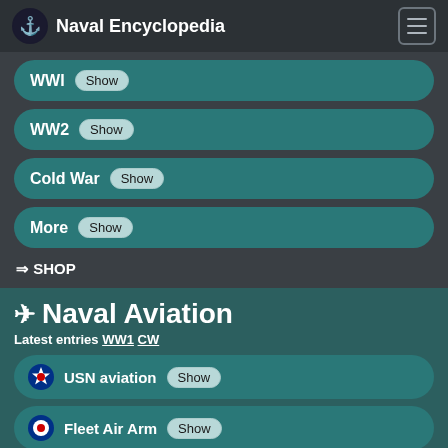Naval Encyclopedia
WWI Show
WW2 Show
Cold War Show
More Show
⇒ SHOP
✈ Naval Aviation
Latest entries WW1 CW
USN aviation Show
Fleet Air Arm Show
IJN aviation Show